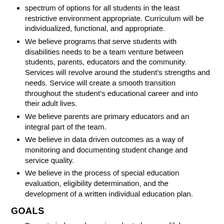spectrum of options for all students in the least restrictive environment appropriate. Curriculum will be individualized, functional, and appropriate.
We believe programs that serve students with disabilities needs to be a team venture between students, parents, educators and the community. Services will revolve around the student’s strengths and needs. Service will create a smooth transition throughout the student’s educational career and into their adult lives.
We believe parents are primary educators and an integral part of the team.
We believe in data driven outcomes as a way of monitoring and documenting student change and service quality.
We believe in the process of special education evaluation, eligibility determination, and the development of a written individual education plan.
GOALS
Promote independence in order to become lifelong learners and functional members of the community.
Provide a continuous process of staff development available for stakeholders.